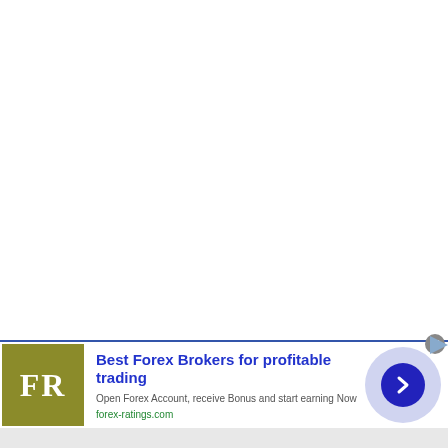[Figure (other): White blank main content area above advertisement banner]
[Figure (infographic): Advertisement banner for forex-ratings.com: 'Best Forex Brokers for profitable trading'. Contains FR logo in olive/gold square, headline text, subtext 'Open Forex Account, receive Bonus and start earning Now', URL 'forex-ratings.com', and a navy blue arrow button on lavender circular background. Close button (x) in gray circle at top-right.]